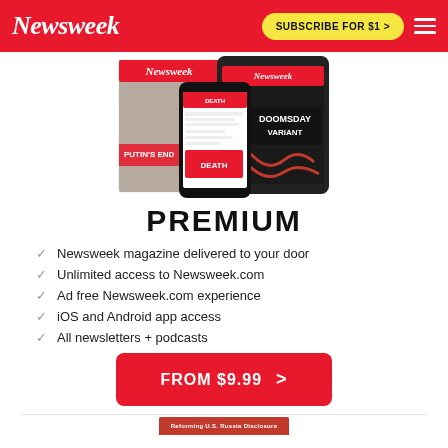Newsweek | SUBSCRIBE FOR $1 >
[Figure (photo): Newsweek magazine covers displayed on print, tablet, and phone showing Putin cover and Doomsday Variant cover]
PREMIUM
Newsweek magazine delivered to your door
Unlimited access to Newsweek.com
Ad free Newsweek.com experience
iOS and Android app access
All newsletters + podcasts
FROM $9.99 >
[Figure (photo): Teaser image at bottom of page]